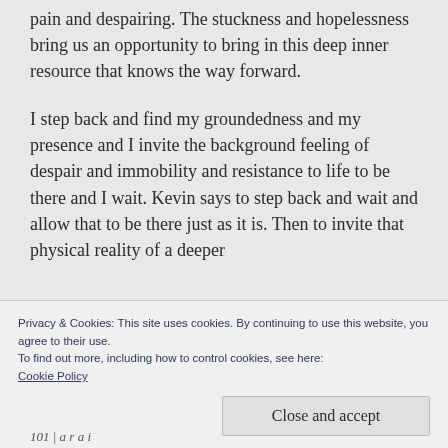pain and despairing. The stuckness and hopelessness bring us an opportunity to bring in this deep inner resource that knows the way forward.
I step back and find my groundedness and my presence and I invite the background feeling of despair and immobility and resistance to life to be there and I wait. Kevin says to step back and wait and allow that to be there just as it is. Then to invite that physical reality of a deeper
Privacy & Cookies: This site uses cookies. By continuing to use this website, you agree to their use.
To find out more, including how to control cookies, see here:
Cookie Policy
Close and accept
101 | a r a i